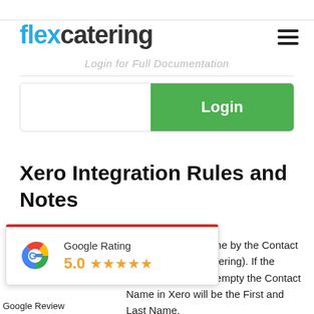flexcatering
Login for Full Documentation
[Figure (screenshot): Login form with text input field and green Login button]
Xero Integration Rules and Notes
[Figure (infographic): Google Rating card showing 5.0 stars with Google G logo and red top border]
nciliation between the by the Contact Name in in Flex Catering). If the Company Name is empty the Contact Name in Xero will be the First and Last Name.
Google Review